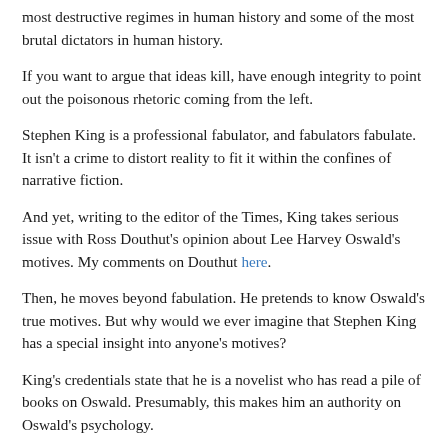most destructive regimes in human history and some of the most brutal dictators in human history.
If you want to argue that ideas kill, have enough integrity to point out the poisonous rhetoric coming from the left.
Stephen King is a professional fabulator, and fabulators fabulate. It isn't a crime to distort reality to fit it within the confines of narrative fiction.
And yet, writing to the editor of the Times, King takes serious issue with Ross Douthut's opinion about Lee Harvey Oswald's motives. My comments on Douthut here.
Then, he moves beyond fabulation. He pretends to know Oswald's true motives. But why would we ever imagine that Stephen King has a special insight into anyone's motives?
King's credentials state that he is a novelist who has read a pile of books on Oswald. Presumably, this makes him an authority on Oswald's psychology.